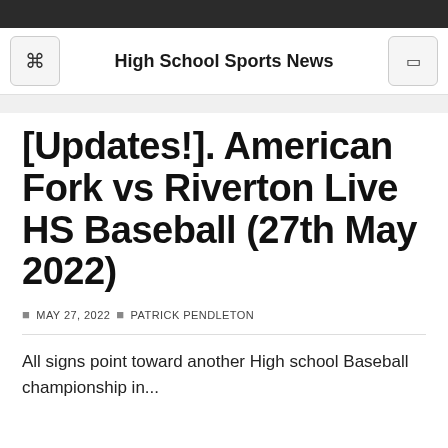High School Sports News
[Updates!]. American Fork vs Riverton Live HS Baseball (27th May 2022)
MAY 27, 2022  PATRICK PENDLETON
All signs point toward another High school Baseball championship in...